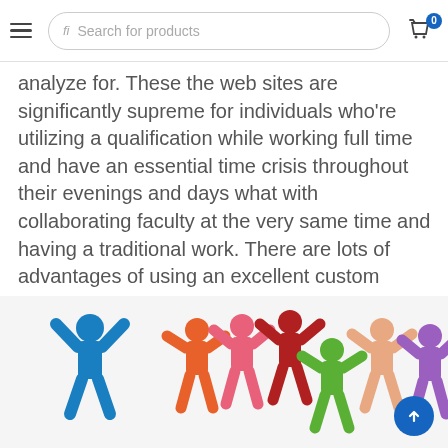Search for products
analyze for. These the web sites are significantly supreme for individuals who're utilizing a qualification while working full time and have an essential time crisis throughout their evenings and days what with collaborating faculty at the very same time and having a traditional work. There are lots of advantages of using an excellent custom dissertation writing assistance for writing your paperwork and reports.
[Figure (photo): Colorful paper cut-out human figures holding hands in a circle, representing teamwork and community. Figures are in blue, orange, pink, red, dark red, peach, orange, and purple colors on a white background.]